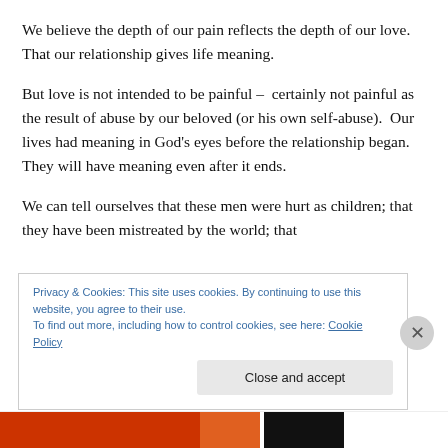We believe the depth of our pain reflects the depth of our love.  That our relationship gives life meaning.
But love is not intended to be painful –  certainly not painful as the result of abuse by our beloved (or his own self-abuse).  Our lives had meaning in God’s eyes before the relationship began.  They will have meaning even after it ends.
We can tell ourselves that these men were hurt as children; that they have been mistreated by the world; that
Privacy & Cookies: This site uses cookies. By continuing to use this website, you agree to their use.
To find out more, including how to control cookies, see here: Cookie Policy